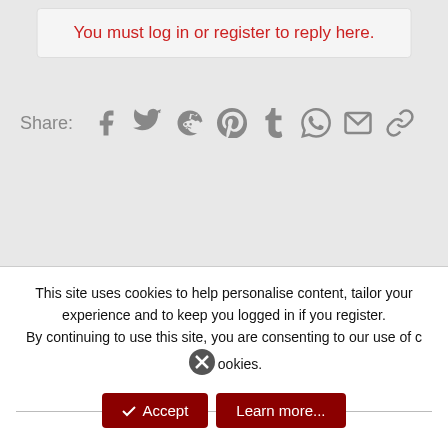You must log in or register to reply here.
Share:
[Figure (screenshot): Social share icons: Facebook, Twitter, Reddit, Pinterest, Tumblr, WhatsApp, Email, Link]
This site uses cookies to help personalise content, tailor your experience and to keep you logged in if you register.
By continuing to use this site, you are consenting to our use of cookies.
Accept
Learn more...